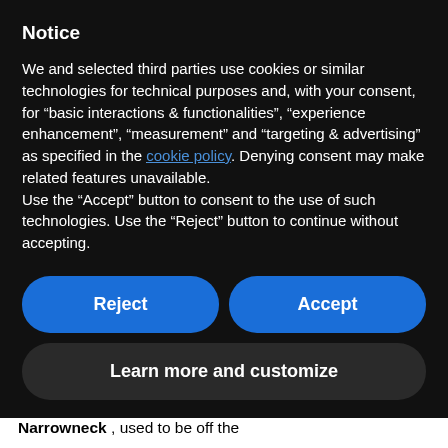Notice
We and selected third parties use cookies or similar technologies for technical purposes and, with your consent, for “basic interactions & functionalities”, “experience enhancement”, “measurement” and “targeting & advertising” as specified in the cookie policy. Denying consent may make related features unavailable.
Use the “Accept” button to consent to the use of such technologies. Use the “Reject” button to continue without accepting.
Reject
Accept
Learn more and customize
your holiday enjoyable. From Sea World you can take a look at The Spit which receives many swells. It is not as peaceful and developed as the rest of this coast and has tons of empty peaks stretching as far as Main Beach. Narrowneck , used to be off the